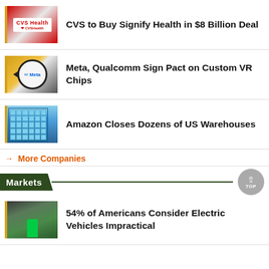CVS to Buy Signify Health in $8 Billion Deal
Meta, Qualcomm Sign Pact on Custom VR Chips
Amazon Closes Dozens of US Warehouses
→ More Companies
Markets
54% of Americans Consider Electric Vehicles Impractical